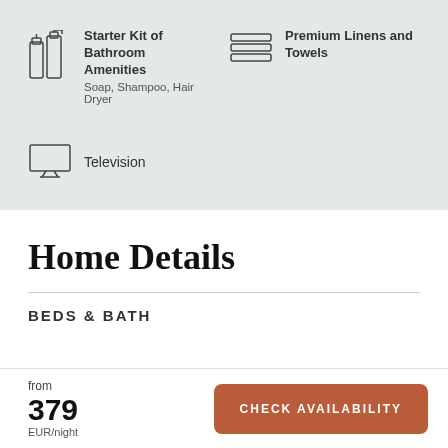Starter Kit of Bathroom Amenities
Soap, Shampoo, Hair Dryer
Premium Linens and Towels
Television
Home Details
BEDS & BATH
from
379
EUR/night
CHECK AVAILABILITY